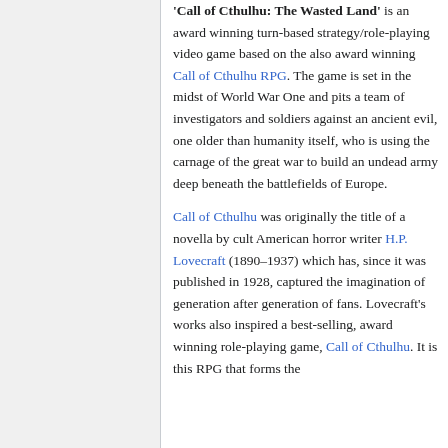'Call of Cthulhu: The Wasted Land' is an award winning turn-based strategy/role-playing video game based on the also award winning Call of Cthulhu RPG. The game is set in the midst of World War One and pits a team of investigators and soldiers against an ancient evil, one older than humanity itself, who is using the carnage of the great war to build an undead army deep beneath the battlefields of Europe.
Call of Cthulhu was originally the title of a novella by cult American horror writer H.P. Lovecraft (1890–1937) which has, since it was published in 1928, captured the imagination of generation after generation of fans. Lovecraft's works also inspired a best-selling, award winning role-playing game, Call of Cthulhu. It is this RPG that forms the